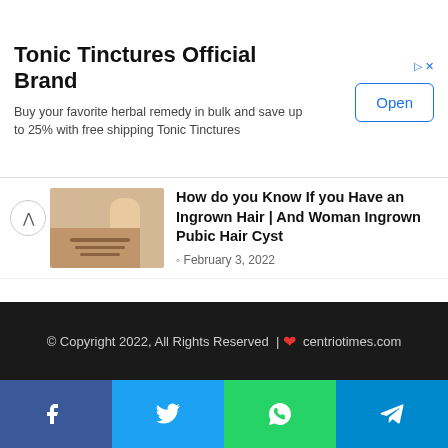[Figure (infographic): Advertisement banner for Tonic Tinctures Official Brand with Open button]
Tonic Tinctures Official Brand
Buy your favorite herbal remedy in bulk and save up to 25% with free shipping Tonic Tinctures
[Figure (photo): Thumbnail showing skin with ingrown hair]
How do you Know If you Have an Ingrown Hair | And Woman Ingrown Pubic Hair Cyst
February 3, 2022
[Figure (photo): Thumbnail showing beluga whale at aquarium]
Beluga Whale Weight: And Why does a beluga head squish?
October 1, 2021
© Copyright 2022, All Rights Reserved | ♥ centriotimes.com